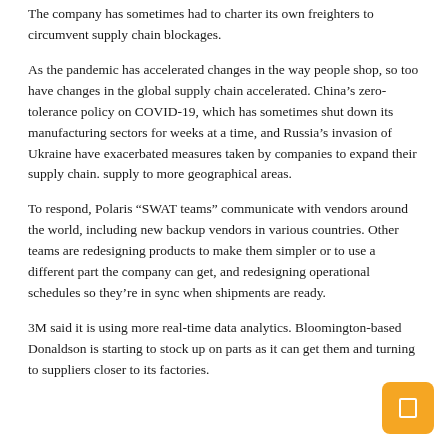The company has sometimes had to charter its own freighters to circumvent supply chain blockages.
As the pandemic has accelerated changes in the way people shop, so too have changes in the global supply chain accelerated. China's zero-tolerance policy on COVID-19, which has sometimes shut down its manufacturing sectors for weeks at a time, and Russia's invasion of Ukraine have exacerbated measures taken by companies to expand their supply chain. supply to more geographical areas.
To respond, Polaris “SWAT teams” communicate with vendors around the world, including new backup vendors in various countries. Other teams are redesigning products to make them simpler or to use a different part the company can get, and redesigning operational schedules so they’re in sync when shipments are ready.
3M said it is using more real-time data analytics. Bloomington-based Donaldson is starting to stock up on parts as it can get them and turning to suppliers closer to its factories.